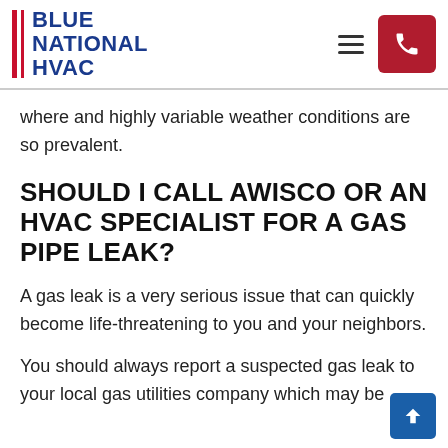BLUE NATIONAL HVAC
where and highly variable weather conditions are so prevalent.
SHOULD I CALL AWISCO OR AN HVAC SPECIALIST FOR A GAS PIPE LEAK?
A gas leak is a very serious issue that can quickly become life-threatening to you and your neighbors.
You should always report a suspected gas leak to your local gas utilities company which may be